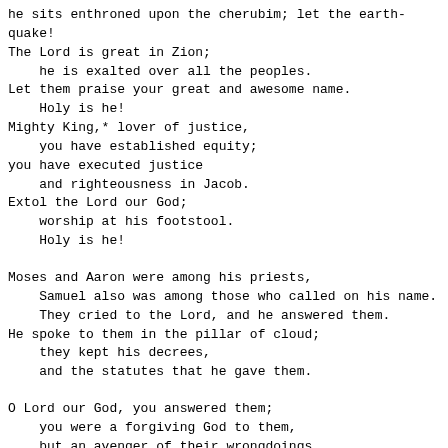he sits enthroned upon the cherubim; let the earth-
quake!
The Lord is great in Zion;
    he is exalted over all the peoples.
Let them praise your great and awesome name.
    Holy is he!
Mighty King,* lover of justice,
    you have established equity;
you have executed justice
    and righteousness in Jacob.
Extol the Lord our God;
    worship at his footstool.
    Holy is he!
Moses and Aaron were among his priests,
    Samuel also was among those who called on his name.
    They cried to the Lord, and he answered them.
He spoke to them in the pillar of cloud;
    they kept his decrees,
    and the statutes that he gave them.
O Lord our God, you answered them;
    you were a forgiving God to them,
    but an avenger of their wrongdoings.
Extol the Lord our God,
    and worship at his holy mountain;
    for the Lord our God is holy.
Evening Psalms: Psalm 94